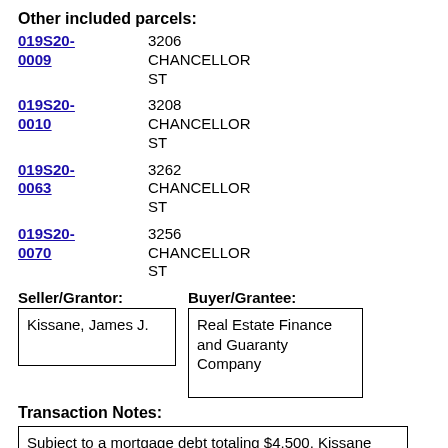Other included parcels:
019S20-0009  3206 CHANCELLOR ST
019S20-0010  3208 CHANCELLOR ST
019S20-0063  3262 CHANCELLOR ST
019S20-0070  3256 CHANCELLOR ST
Seller/Grantor:   Buyer/Grantee:
| Seller/Grantor | Buyer/Grantee |
| --- | --- |
| Kissane, James J. | Real Estate Finance and Guaranty Company |
Transaction Notes:
Subject to a mortgage debt totaling $4,500. Kissane acquired these